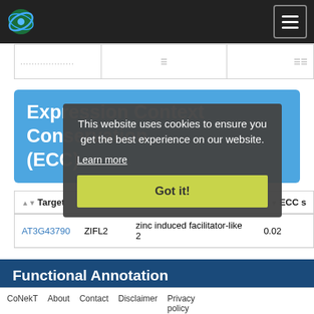CoNekT (navigation bar with logo and hamburger menu)
|  |  |  |
| --- | --- | --- |
| ................. |  |  |
Expression Context Conservation (ECC)
| Target | Alias | Description | ECC s... |
| --- | --- | --- | --- |
| AT3G43790 | ZIFL2 | zinc induced facilitator-like 2 | 0.02 |
This website uses cookies to ensure you get the best experience on our website. Learn more
Functional Annotation
CoNekT   About   Contact   Disclaimer   Privacy policy